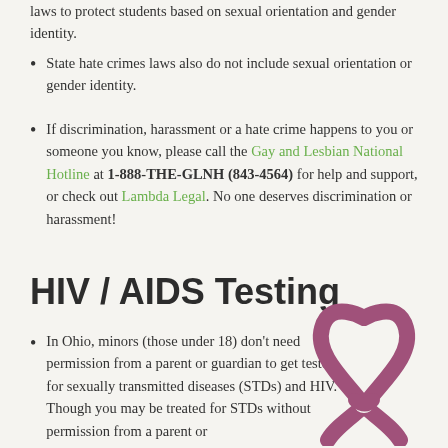laws to protect students based on sexual orientation and gender identity.
State hate crimes laws also do not include sexual orientation or gender identity.
If discrimination, harassment or a hate crime happens to you or someone you know, please call the Gay and Lesbian National Hotline at 1-888-THE-GLNH (843-4564) for help and support, or check out Lambda Legal. No one deserves discrimination or harassment!
HIV / AIDS Testing
In Ohio, minors (those under 18) don't need permission from a parent or guardian to get tested for sexually transmitted diseases (STDs) and HIV. Though you may be treated for STDs without permission from a parent or
[Figure (illustration): Pink/mauve AIDS awareness ribbon illustration]